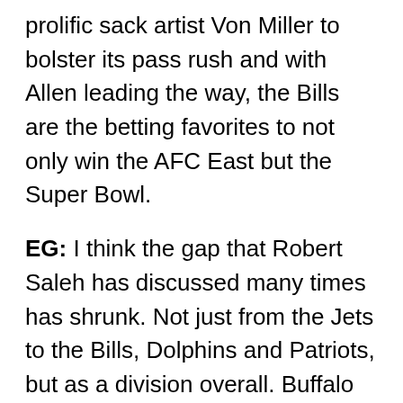prolific sack artist Von Miller to bolster its pass rush and with Allen leading the way, the Bills are the betting favorites to not only win the AFC East but the Super Bowl.
EG: I think the gap that Robert Saleh has discussed many times has shrunk. Not just from the Jets to the Bills, Dolphins and Patriots, but as a division overall. Buffalo (11-6), New England (10-7) and Miami (9-8) finished a game apart in the division. The Dolphins roster has improved with the additions of WR Tyreek Hill and LT Terron Armstead, but what will their brand of play be under